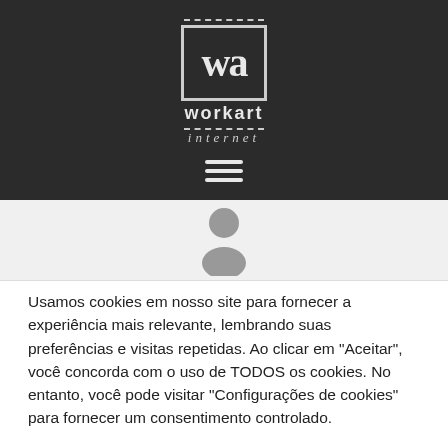[Figure (logo): Workart Internet logo: white 'wa' text inside a bordered box with dashed lines above and below, with 'workart' in bold and 'internet' in italic below]
[Figure (illustration): Three horizontal hamburger menu lines (navigation icon) in white on dark background]
[Figure (illustration): Person/user silhouette icon in dark grey on light grey background]
Usamos cookies em nosso site para fornecer a experiência mais relevante, lembrando suas preferências e visitas repetidas. Ao clicar em "Aceitar", você concorda com o uso de TODOS os cookies. No entanto, você pode visitar "Configurações de cookies" para fornecer um consentimento controlado.
Configurações   Aceitar